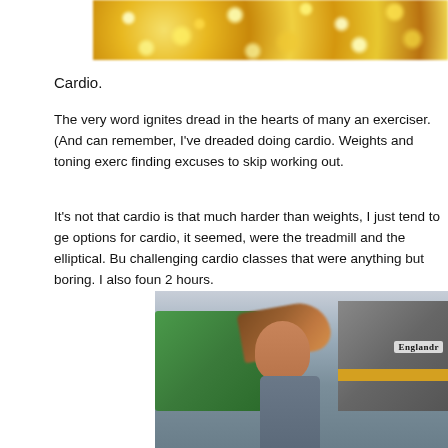[Figure (photo): Gold bokeh/glitter background image, cropped at top]
Cardio.
The very word ignites dread in the hearts of many an exerciser. (And can remember, I've dreaded doing cardio. Weights and toning exerc finding excuses to skip working out.
It's not that cardio is that much harder than weights, I just tend to ge options for cardio, it seemed, were the treadmill and the elliptical. Bu challenging cardio classes that were anything but boring. I also foun 2 hours.
[Figure (photo): Woman with hair blowing in the wind running past green and grey trucks, one labeled Englander]